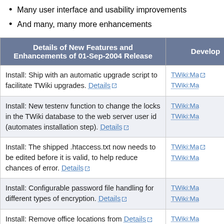Many user interface and usability improvements
And many, many more enhancements
| Details of New Features and Enhancements of 01-Sep-2004 Release | Develop… |
| --- | --- |
| Install: Ship with an automatic upgrade script to facilitate TWiki upgrades. Details | TWiki:Ma… TWiki:Ma… |
| Install: New testenv function to change the locks in the TWiki database to the web server user id (automates installation step). Details | TWiki:Ma… TWiki:Ma… |
| Install: The shipped .htaccess.txt now needs to be edited before it is valid, to help reduce chances of error. Details | TWiki:Ma… TWiki:Ma… |
| Install: Configurable password file handling for different types of encryption. Details | TWiki:Ma… TWiki:Ma… |
| Install: Remove office locations from … Details | TWiki:Ma… |